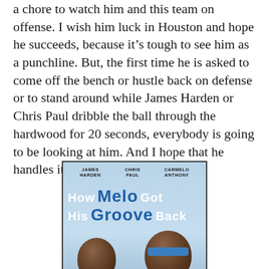a chore to watch him and this team on offense. I wish him luck in Houston and hope he succeeds, because it's tough to see him as a punchline. But, the first time he is asked to come off the bench or hustle back on defense or to stand around while James Harden or Chris Paul dribble the ball through the hardwood for 20 seconds, everybody is going to be looking at him. And I hope that he handles it the right way.
[Figure (illustration): A movie DVD cover parody showing 'How Melo Got His Groove Back' featuring James Harden, Chris Paul, and Carmelo Anthony. The cover shows the three players' names at the top, a stylized movie title in white and blue text, and illustrations of player heads at the bottom against a blue sky background.]